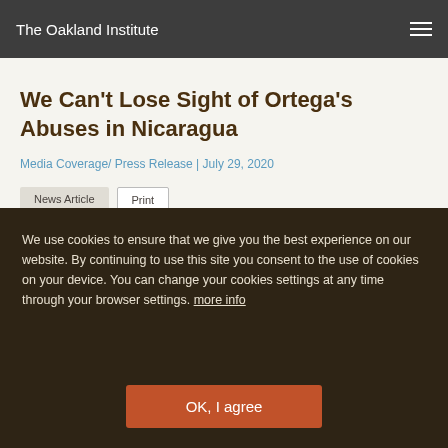The Oakland Institute
We Can't Lose Sight of Ortega's Abuses in Nicaragua
Media Coverage/ Press Release | July 29, 2020
News Article
Print
Nicaragua, Calibre Mining Group, Hemco, Mineros S.A
We use cookies to ensure that we give you the best experience on our website. By continuing to use this site you consent to the use of cookies on your device. You can change your cookies settings at any time through your browser settings. more info
OK, I agree